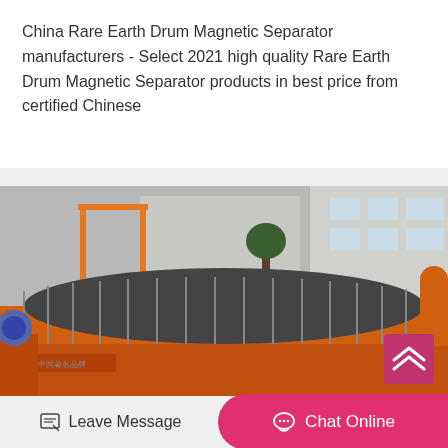China Rare Earth Drum Magnetic Separator manufacturers - Select 2021 high quality Rare Earth Drum Magnetic Separator products in best price from certified Chinese
[Figure (photo): Industrial photo of orange-painted rare earth drum magnetic separator equipment in a factory yard, with Chinese text on the machine base, other industrial machinery visible in background, and a building with windows in the upper right.]
Leave Message
Chat Online